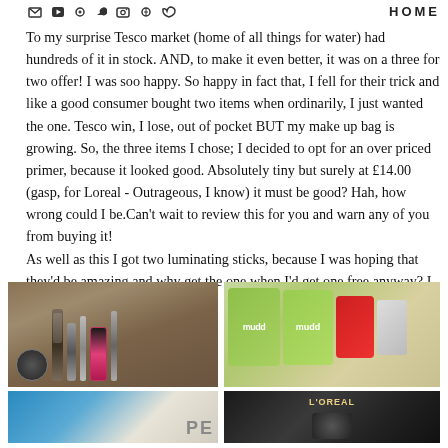HOME
To my surprise Tesco market (home of all things for water) had hundreds of it in stock. AND, to make it even better, it was on a three for two offer! I was soo happy. So happy in fact that, I fell for their trick and like a good consumer bought two items when ordinarily, I just wanted the one. Tesco win, I lose, out of pocket BUT my make up bag is growing. So, the three items I chose; I decided to opt for an over priced primer, because it looked good. Absolutely tiny but surely at £14.00 (gasp, for Loreal - Outrageous, I know) it must be good? Hah, how wrong could I be.Can't wait to review this for you and warn any of you from buying it!
As well as this I got two luminating sticks, because I was hoping that they'd be amazing and why get the one when I'd get one free anyway? I was alll smiles!
[Figure (photo): Photo of MUA makeup products including a round tin, mascara, pencil, eyeliner and pink nail polish arranged on a beige/tan carpet background]
[Figure (photo): Photo of Mudd face mask packets and other beauty/skincare products laid out on a surface]
[Figure (photo): Photo of a blue cosmetic product with white packaging showing letters PE]
[Figure (photo): Photo of a dark L'Oreal product container on a surface]